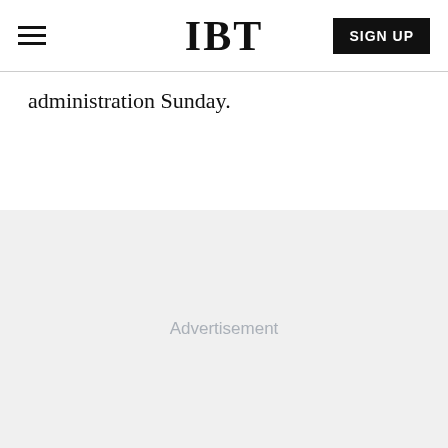IBT
administration Sunday.
[Figure (other): Advertisement placeholder area with light gray background and centered 'Advertisement' label text]